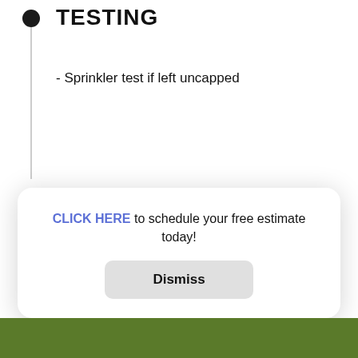TESTING
- Sprinkler test if left uncapped
CLICK HERE to schedule your free estimate today!
Dismiss